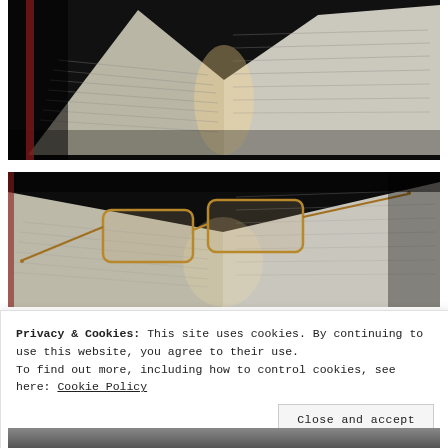[Figure (photo): Photo of an open book shot from an angle, showing pages with text, dark background, warm light glowing from center of the book]
[Figure (photo): Photo of an open book with reading glasses (brown/copper frame) resting on the pages, dark background, text visible on pages]
Privacy & Cookies: This site uses cookies. By continuing to use this website, you agree to their use.
To find out more, including how to control cookies, see here: Cookie Policy
Close and accept